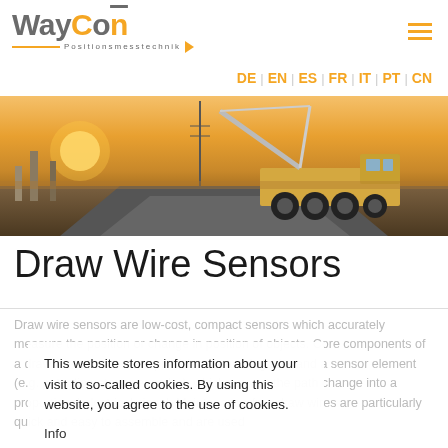WayCon Positionsmesstechnik
[Figure (logo): WayCon Positionsmesstechnik logo with orange accent bar and arrow]
[Figure (infographic): Navigation links: DE EN ES FR IT PT CN]
[Figure (photo): Hero banner photo showing a large yellow crane/heavy equipment vehicle on a road at sunset]
Draw Wire Sensors
Draw wire sensors are low-cost, compact sensors which accurately measure the position or change in position of objects. Core components of a draw wire sensor are a precision measuring wire and a sensor element (e.g. potentiometer or encoder), which convert the path change into a proportional electrical signal. Maintenance-free draw wires are particularly quick and easy to assemble and are used
This website stores information about your visit to so-called cookies. By using this website, you agree to the use of cookies.
Info
OK